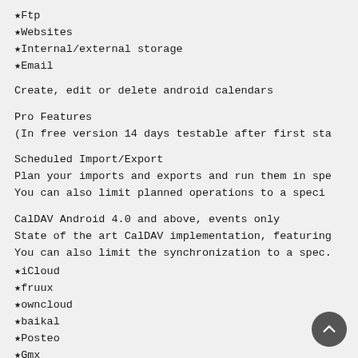★Ftp
★Websites
★Internal/external storage
★Email
Create, edit or delete android calendars
Pro Features
(In free version 14 days testable after first sta
Scheduled Import/Export
Plan your imports and exports and run them in spe
You can also limit planned operations to a speci
CalDAV Android 4.0 and above, events only
State of the art CalDAV implementation, featuring
You can also limit the synchronization to a spec.
★iCloud
★fruux
★owncloud
★baikal
★Posteo
★Gmx
★Web.de